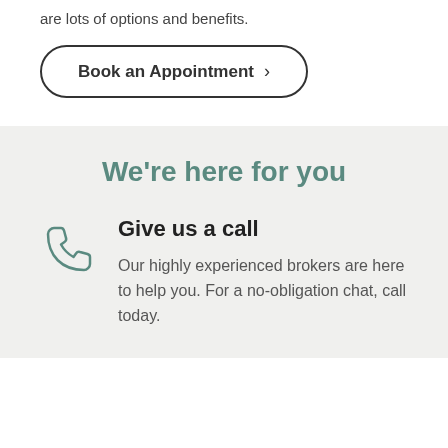are lots of options and benefits.
Book an Appointment >
We're here for you
Give us a call
Our highly experienced brokers are here to help you. For a no-obligation chat, call today.